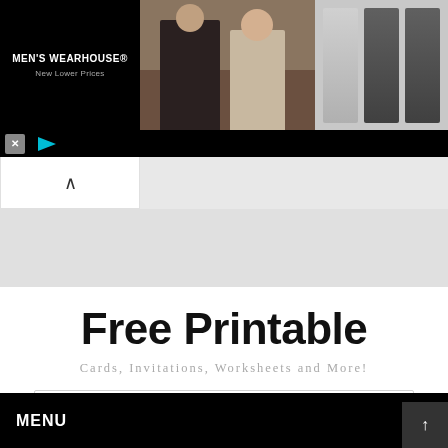[Figure (screenshot): Men's Wearhouse advertisement banner showing a couple in formal wear alongside suit thumbnails. Logo reads "MEN'S WEARHOUSE® New Lower Prices". Ad controls with X and play button are visible at bottom of banner.]
Free Printable
Cards, Invitations, Worksheets and More!
Search...
MENU